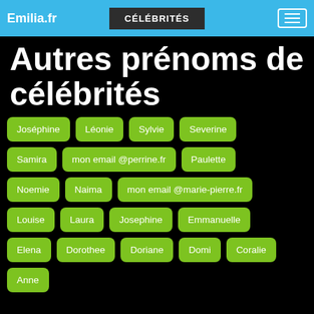Emilia.fr | CÉLÉBRITÉS
Autres prénoms de célébrités
Joséphine
Léonie
Sylvie
Severine
Samira
mon email @perrine.fr
Paulette
Noemie
Naima
mon email @marie-pierre.fr
Louise
Laura
Josephine
Emmanuelle
Elena
Dorothee
Doriane
Domi
Coralie
Anne